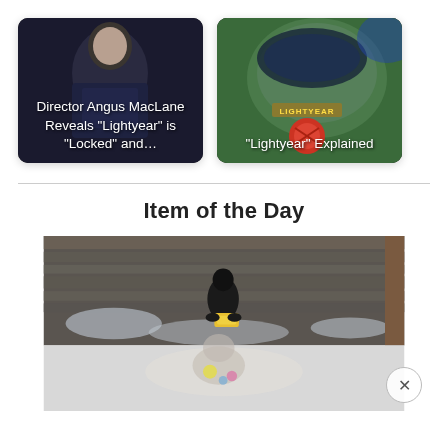[Figure (photo): Card showing a person (Director Angus MacLane) in dark scene with white text overlay: 'Director Angus MacLane Reveals "Lightyear" is "Locked" and…']
[Figure (photo): Card showing close-up of green Lightyear spacesuit helmet with LIGHTYEAR badge and red button, with white text overlay: '"Lightyear" Explained']
Item of the Day
[Figure (photo): Large photo showing a figure in dark clothing/costume holding something yellow, with blurred grey/brown background. A close-up of a toy or character below in a lighter background.]